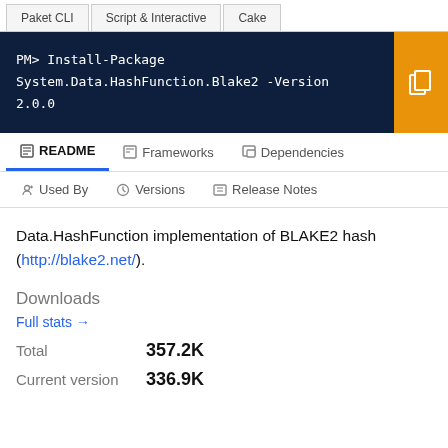Paket CLI | Script & Interactive | Cake
PM> Install-Package System.Data.HashFunction.Blake2 -Version 2.0.0
README | Frameworks | Dependencies | Used By | Versions | Release Notes
Data.HashFunction implementation of BLAKE2 hash (http://blake2.net/).
Downloads
Full stats →
Total   357.2K
Current version   336.9K